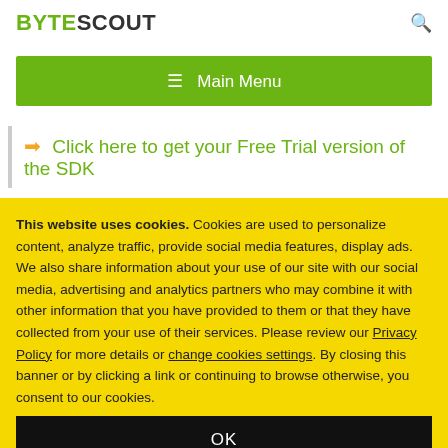BYTESCOUT
[Figure (other): Green navigation bar with hamburger menu icon and 'Main Menu' text]
➡ Click here to get your Free Trial version of the SDK
This website uses cookies. Cookies are used to personalize content, analyze traffic, provide social media features, display ads. We also share information about your use of our site with our social media, advertising and analytics partners who may combine it with other information that you have provided to them or that they have collected from your use of their services. Please review our Privacy Policy for more details or change cookies settings. By closing this banner or by clicking a link or continuing to browse otherwise, you consent to our cookies.
OK